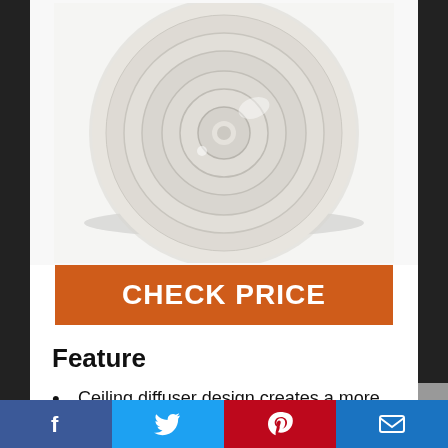[Figure (photo): White circular ceiling diffuser/vent cover with concentric rings, viewed from below on white background]
CHECK PRICE
Feature
Ceiling diffuser design creates a more consistent air flow
Includes screws for quick and easy install
Solid metal ceiling vent deflector